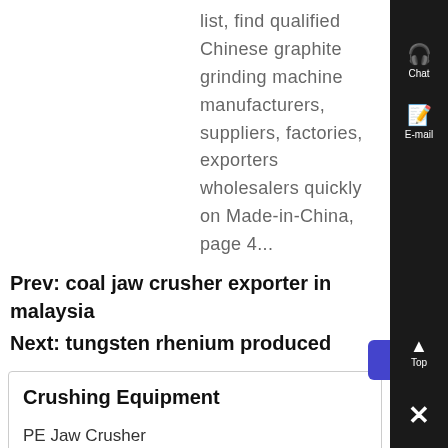list, find qualified Chinese graphite grinding machine manufacturers, suppliers, factories, exporters wholesalers quickly on Made-in-China, page 4...
Prev: coal jaw crusher exporter in malaysia
Next: tungsten rhenium produced
Crushing Equipment
PE Jaw Crusher
PEW Jaw Crusher
PF Impact Crusher
PFW Impact Crusher
PY Cone Crusher